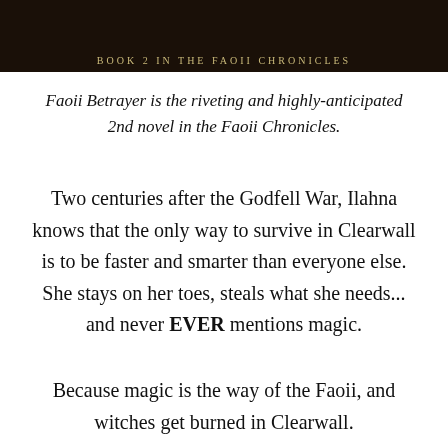[Figure (illustration): Dark book cover image showing 'BOOK 2 IN THE FAOII CHRONICLES' subtitle text in gold lettering on a dark background]
Faoii Betrayer is the riveting and highly-anticipated 2nd novel in the Faoii Chronicles.
Two centuries after the Godfell War, Ilahna knows that the only way to survive in Clearwall is to be faster and smarter than everyone else. She stays on her toes, steals what she needs... and never EVER mentions magic.
Because magic is the way of the Faoii, and witches get burned in Clearwall.